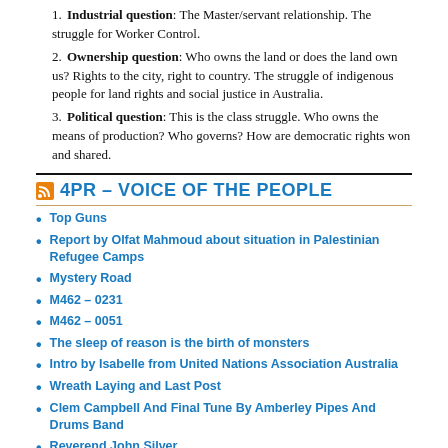1. Industrial question: The Master/servant relationship. The struggle for Worker Control.
2. Ownership question: Who owns the land or does the land own us? Rights to the city, right to country. The struggle of indigenous people for land rights and social justice in Australia.
3. Political question: This is the class struggle. Who owns the means of production? Who governs? How are democratic rights won and shared.
4PR – VOICE OF THE PEOPLE
Top Guns
Report by Olfat Mahmoud about situation in Palestinian Refugee Camps
Mystery Road
M462 – 0231
M462 – 0051
The sleep of reason is the birth of monsters
Intro by Isabelle from United Nations Association Australia
Wreath Laying and Last Post
Clem Campbell And Final Tune By Amberley Pipes And Drums Band
Reverend John Silver